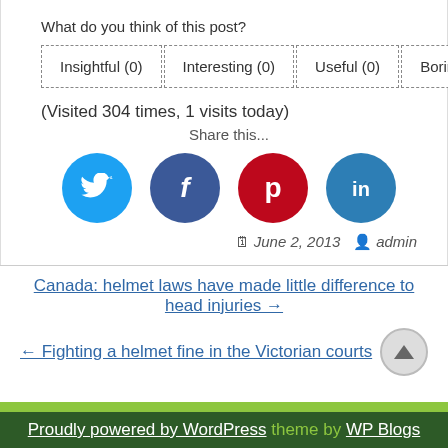What do you think of this post?
Insightful (0)   Interesting (0)   Useful (0)   Boring (0)
(Visited 304 times, 1 visits today)
Share this...
[Figure (infographic): Four social media icons: Twitter (blue), Facebook (dark blue), Pinterest (red), LinkedIn (teal)]
June 2, 2013  admin
Canada: helmet laws have made little difference to head injuries →
← Fighting a helmet fine in the Victorian courts
Proudly powered by WordPress theme by WP Blogs